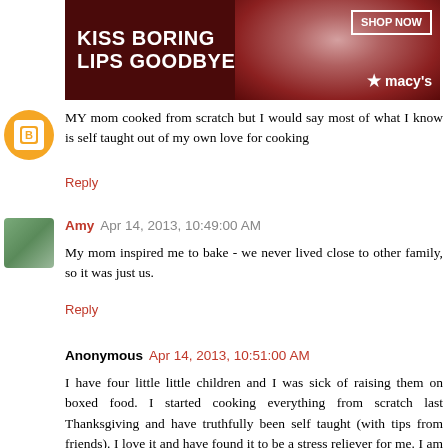[Figure (photo): Advertisement banner for Macy's lipstick. Text reads 'KISS BORING LIPS GOODBYE' with a photo of a woman with red lips, and a 'SHOP NOW' button with Macy's star logo.]
MY mom cooked from scratch but I would say most of what I know is self taught out of my own love for cooking
Reply
Amy  Apr 14, 2013, 10:49:00 AM
My mom inspired me to bake - we never lived close to other family, so it was just us.
Reply
Anonymous  Apr 14, 2013, 10:51:00 AM
I have four little little children and I was sick of raising them on boxed food. I started cooking everything from scratch last Thanksgiving and have truthfully been self taught (with tips from friends). I love it and have found it to be a stress reliever for me. I am proud to know that what my kids eat I made!